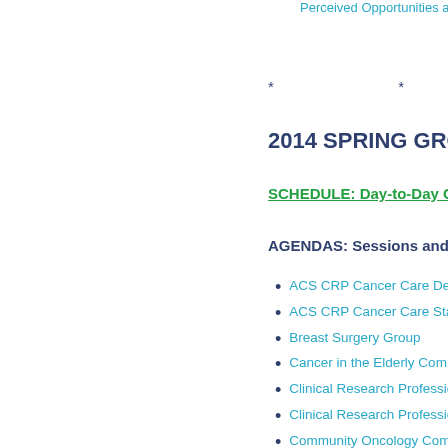Perceived Opportunities an
* * * *
2014 SPRING GROUP ME
SCHEDULE: Day-to-Day Guide
AGENDAS: Sessions and Comm
ACS CRP Cancer Care De
ACS CRP Cancer Care Sta
Breast Surgery Group
Cancer in the Elderly Comm
Clinical Research Professio
Clinical Research Professio
Community Oncology Com
Experimental Therapeutics
Gastrointestinal (GI) Comm